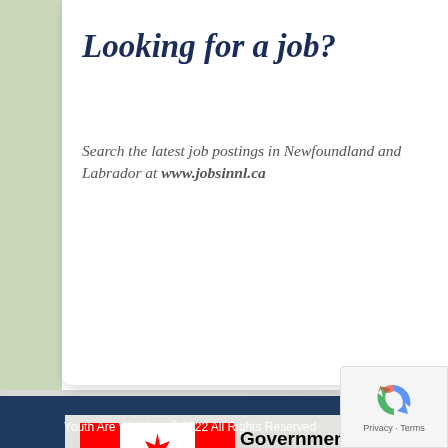Looking for a job?
Search the latest job postings in Newfoundland and Labrador at www.jobsinnl.ca
[Figure (logo): Government of Canada logo with Canadian flag (red maple leaf on white and red background) followed by text 'Government of Canada', vertical divider, and 'Service Canada' text]
Youth Are Working. © 2022 All Rights Reserved